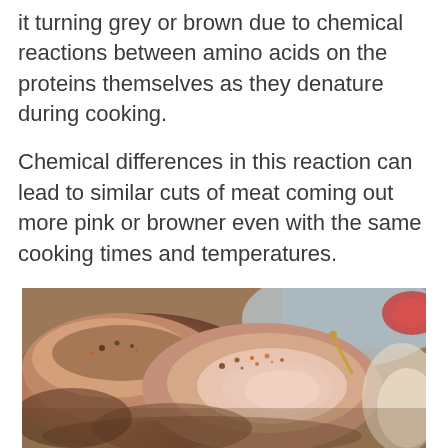it turning grey or brown due to chemical reactions between amino acids on the proteins themselves as they denature during cooking.
Chemical differences in this reaction can lead to similar cuts of meat coming out more pink or browner even with the same cooking times and temperatures.
[Figure (photo): Close-up photograph of cooked/sliced meat (appears to be pork or lamb) seasoned with spices, showing pink interior and browned exterior crust, on a plate with other food items visible in background.]